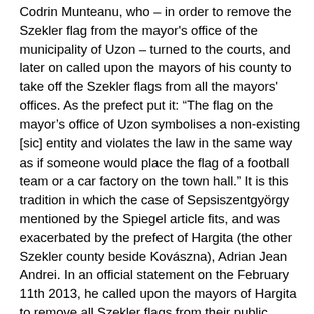Codrin Munteanu, who – in order to remove the Szekler flag from the mayor's office of the municipality of Uzon – turned to the courts, and later on called upon the mayors of his county to take off the Szekler flags from all the mayors' offices. As the prefect put it: “The flag on the mayor’s office of Uzon symbolises a non-existing [sic] entity and violates the law in the same way as if someone would place the flag of a football team or a car factory on the town hall.” It is this tradition in which the case of Sepsiszentgyörgy mentioned by the Spiegel article fits, and was exacerbated by the prefect of Hargita (the other Szekler county beside Kovászna), Adrian Jean Andrei. In an official statement on the February 11th 2013, he called upon the mayors of Hargita to remove all Szekler flags from their public buildings.
In the long history of this unworthy series of events, this is the first time the Hungarian diplomacy has expressed its opinion through the secretary of foreign affairs. Németh Zsolt not only mentioned that the Hungarian government expects its Romanian counterpart to suspend the symbolic aggression against the Transylvanian Hungarian community, but he also